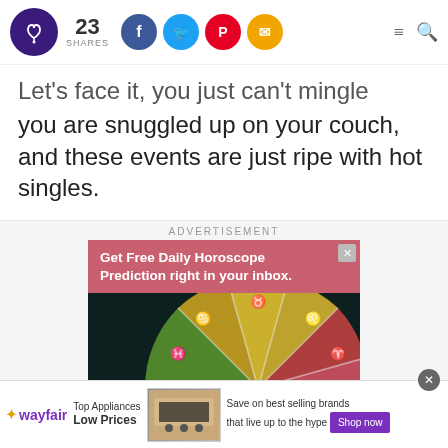23 SHARES [social icons: Facebook, Twitter, Pinterest, Email] [menu] [search]
Let's face it, you just can't mingle much when you are snuggled up on your couch, and these events are just ripe with hot singles.
ADVERTISEMENT
[Figure (other): Advertisement banner: 'Get Free Daily Horoscope Prediction right in your inbox.' with zodiac wheel graphic below on dark background]
[Figure (other): Wayfair advertisement: Top Appliances Low Prices, Save on best selling brands that live up to the hype. Shop now button. Image of kitchen range/stove.]